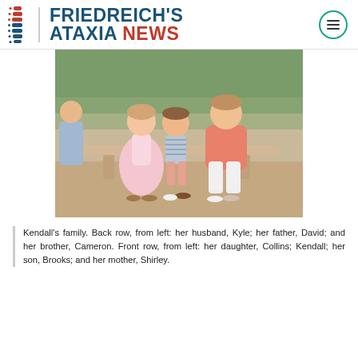[Figure (logo): Friedreich's Ataxia News logo with spine graphic, vertical divider, and navigation hamburger icon]
[Figure (photo): Family photo showing people seated on a wooden bench outdoors. A young girl in a pink dress, a boy in a striped shirt, and a woman in a coral/pink top are visible in the foreground.]
Kendall's family. Back row, from left: her husband, Kyle; her father, David; and her brother, Cameron. Front row, from left: her daughter, Collins; Kendall; her son, Brooks; and her mother, Shirley.